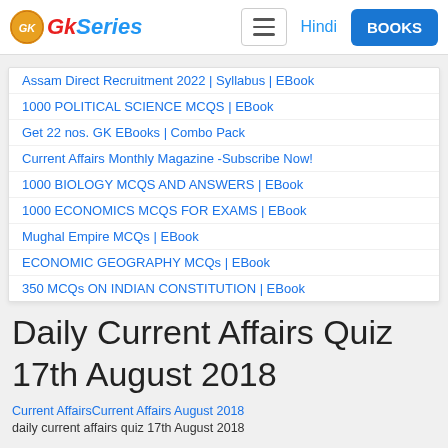GkSeries | Hindi | BOOKS
Assam Direct Recruitment 2022 | Syllabus | EBook
1000 POLITICAL SCIENCE MCQS | EBook
Get 22 nos. GK EBooks | Combo Pack
Current Affairs Monthly Magazine -Subscribe Now!
1000 BIOLOGY MCQS AND ANSWERS | EBook
1000 ECONOMICS MCQS FOR EXAMS | EBook
Mughal Empire MCQs | EBook
ECONOMIC GEOGRAPHY MCQs | EBook
350 MCQs ON INDIAN CONSTITUTION | EBook
Daily Current Affairs Quiz
17th August 2018
Current AffairsCurrent Affairs August 2018
daily current affairs quiz 17th August 2018